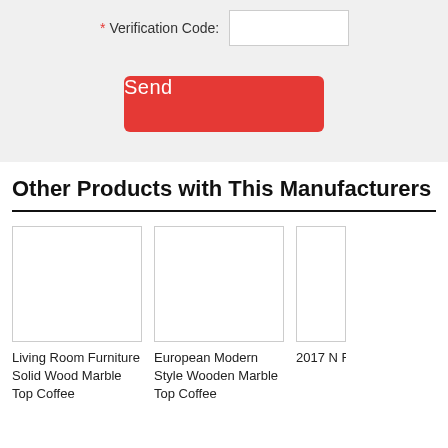* Verification Code:
Send
Other Products with This Manufacturers
[Figure (photo): Empty product image placeholder box 1]
Living Room Furniture Solid Wood Marble Top Coffee
[Figure (photo): Empty product image placeholder box 2]
European Modern Style Wooden Marble Top Coffee
[Figure (photo): Empty product image placeholder box 3 (partially visible)]
2017 N Furnitu